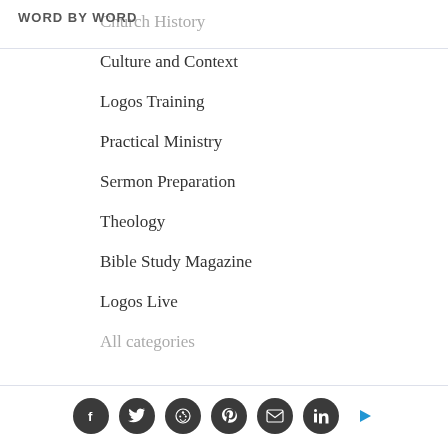WORD BY WORD
Church History
Culture and Context
Logos Training
Practical Ministry
Sermon Preparation
Theology
Bible Study Magazine
Logos Live
All categories
[Figure (infographic): Social share bar with Facebook, Twitter, Reddit, Pinterest, Email, LinkedIn icons and a blue right-arrow button]